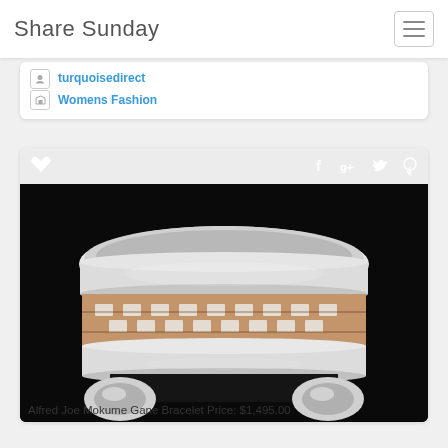Share Sunday
turquoisedirect
Womens Fashion
[Figure (photo): Close-up photograph of a silver and copper Mokume Gane cuff bracelet against a black background, showing intricate inlay pattern]
Alfred Joe Mokume Gane Bracelet Price: $1,495.00